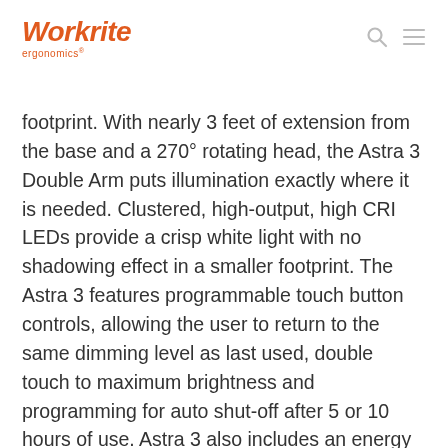Workrite ergonomics®
footprint. With nearly 3 feet of extension from the base and a 270° rotating head, the Astra 3 Double Arm puts illumination exactly where it is needed. Clustered, high-output, high CRI LEDs provide a crisp white light with no shadowing effect in a smaller footprint. The Astra 3 features programmable touch button controls, allowing the user to return to the same dimming level as last used, double touch to maximum brightness and programming for auto shut-off after 5 or 10 hours of use. Astra 3 also includes an energy saving Occupancy Sensor that turns on the Astra 3 with movement and turns off after 15 minutes of inactivity.